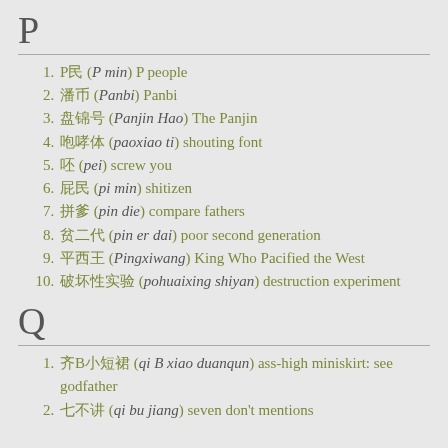P
P民 (P min) P people
潘币 (Panbi) Panbi
盘锦号 (Panjin Hao) The Panjin
咆哮体 (paoxiao ti) shouting font
呸 (pei) screw you
屁民 (pi min) shitizen
拼爹 (pin die) compare fathers
贫二代 (pin er dai) poor second generation
平西王 (Pingxiwang) King Who Pacified the West
破坏性实验 (pohuaixing shiyan) destruction experiment
Q
齐B小短裙 (qi B xiao duanqun) ass-high miniskirt: see godfather
七不讲 (qi bu jiang) seven don't mentions